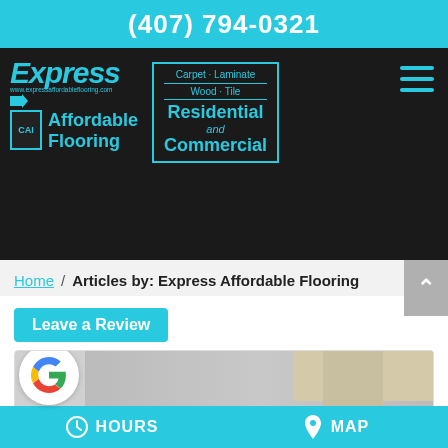(407) 794-0321
[Figure (logo): Express Affordable Flooring logo with cyan text on dark background, services box listing Carpet, Laminate, Wood, Tile, Residential and Commercial]
Home / Articles by: Express Affordable Flooring
Leave a Review
[Figure (screenshot): Google review widget showing Google G logo circle and map image thumbnail]
HOURS   MAP